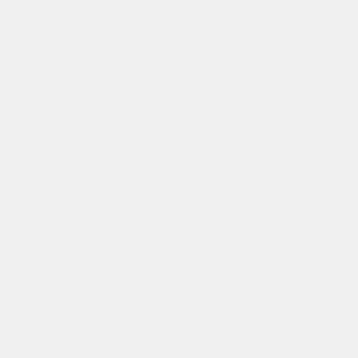permanently marked as marshal helms with a large yellow cross on the rear of the helm. No other helms may